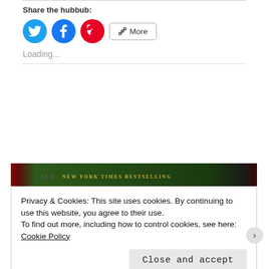Share the hubbub:
[Figure (infographic): Social share buttons: Twitter (blue circle), Facebook (blue circle), Pinterest (red circle), and a 'More' button with share icon]
Loading...
[Figure (photo): Book cover showing 'New York Times Bestselling' text on a dark green/black background]
Privacy & Cookies: This site uses cookies. By continuing to use this website, you agree to their use.
To find out more, including how to control cookies, see here: Cookie Policy
Close and accept